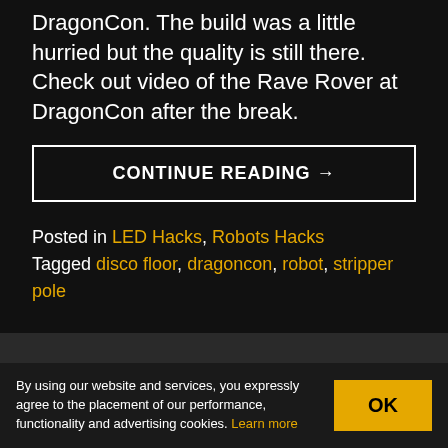DragonCon. The build was a little hurried but the quality is still there. Check out video of the Rave Rover at DragonCon after the break.
CONTINUE READING →
Posted in LED Hacks, Robots Hacks
Tagged disco floor, dragoncon, robot, stripper pole
[Figure (infographic): Advertisement banner with light blue background showing 'DOWNLOAD FREE HIGH QUALITY PCB LIBRARIES FOR ECAD TOOLS' in monospace font]
By using our website and services, you expressly agree to the placement of our performance, functionality and advertising cookies. Learn more